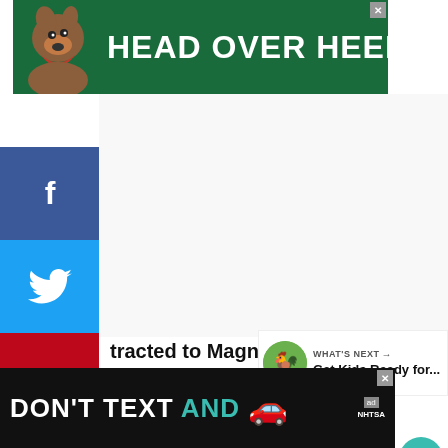[Figure (photo): Top advertisement banner: green background with dog image and text HEAD OVER HEELS in white bold letters]
[Figure (infographic): Social media sharing sidebar with Facebook, Twitter, Pinterest, LinkedIn, Yummly, and Flipboard buttons]
[Figure (infographic): Heart/like button (teal), count '1', and share button on right side]
tracted to Magnificent Magnet
[Figure (photo): What's Next panel with circular green thumbnail and text 'Get Kids Ready for...']
Kit
[Figure (photo): Bottom advertisement banner: black background with text DON'T TEXT AND with car emoji and NHTSA ad logo]